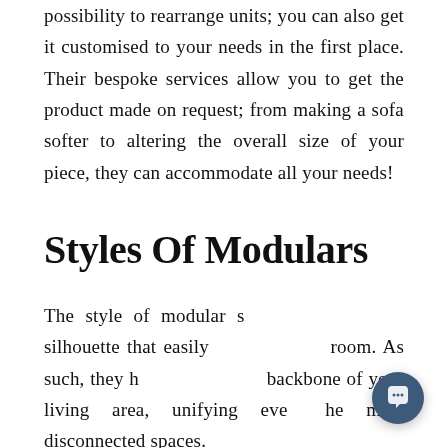possibility to rearrange units; you can also get it customised to your needs in the first place. Their bespoke services allow you to get the product made on request; from making a sofa softer to altering the overall size of your piece, they can accommodate all your needs!
Styles Of Modulars
The style of modular s... silhouette that easily... room. As such, they h... backbone of your living area, unifying eve...he most disconnected spaces.
[Figure (screenshot): Chat popup overlay with avatar icon, close button (×), and message 'Got any questions? I'm happy to help.' A round dark blue chat button is visible at bottom right.]